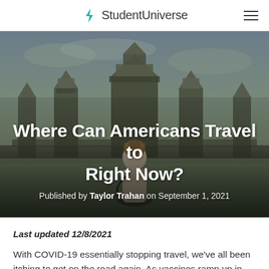StudentUniverse
[Figure (photo): A person (seen from behind, with hair up) facing Angkor Wat temple complex under a cloudy sky. The image serves as the hero background for the article.]
Where Can Americans Travel to Right Now?
Published by Taylor Trahan on September 1, 2021
Last updated 12/8/2021
With COVID-19 essentially stopping travel, we've all been itching to get on the road again. As vaccines ramp up in many places around the world and cases (in many countries) begin to decline, more and more countries are